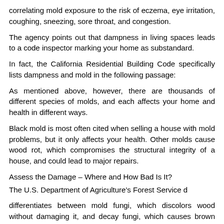correlating mold exposure to the risk of eczema, eye irritation, coughing, sneezing, sore throat, and congestion.
The agency points out that dampness in living spaces leads to a code inspector marking your home as substandard.
In fact, the California Residential Building Code specifically lists dampness and mold in the following passage:
As mentioned above, however, there are thousands of different species of molds, and each affects your home and health in different ways.
Black mold is most often cited when selling a house with mold problems, but it only affects your health. Other molds cause wood rot, which compromises the structural integrity of a house, and could lead to major repairs.
Assess the Damage – Where and How Bad Is It?
The U.S. Department of Agriculture's Forest Service d
differentiates between mold fungi, which discolors wood without damaging it, and decay fungi, which causes brown rot, dry rot, and other structural damage to the wood.
Locating and diagnosing the damage from these different mold